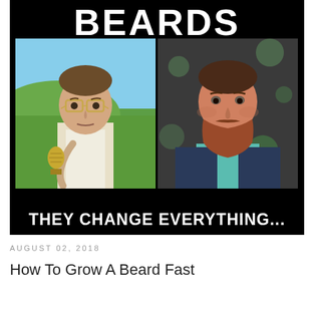[Figure (photo): A meme image with black background. Top text reads 'BEARDS' in large white bold letters. Two side-by-side photos of men — left showing a man with glasses holding a microphone (no beard), right showing the same or similar man with a full red/brown beard. Bottom text reads 'THEY CHANGE EVERYTHING...']
AUGUST 02, 2018
How To Grow A Beard Fast